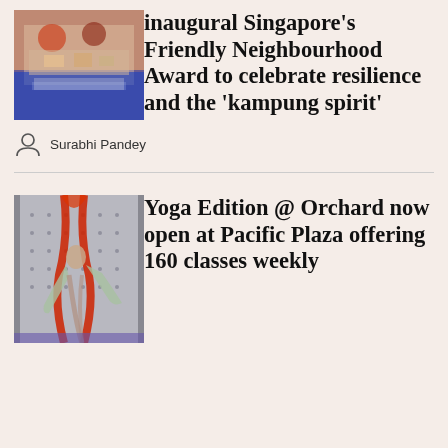[Figure (photo): People at a table with food, decorated with blue tablecloth, event setting]
inaugural Singapore's Friendly Neighbourhood Award to celebrate resilience and the 'kampung spirit'
Surabhi Pandey
[Figure (photo): Person performing aerial yoga, hanging from red silk fabric, indoor gym setting]
Yoga Edition @ Orchard now open at Pacific Plaza offering 160 classes weekly